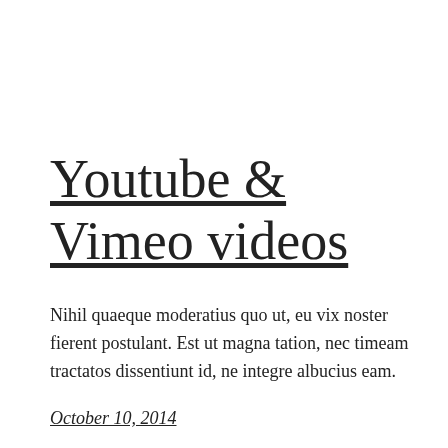Youtube & Vimeo videos
Nihil quaeque moderatius quo ut, eu vix noster fierent postulant. Est ut magna tation, nec timeam tractatos dissentiunt id, ne integre albucius eam.
October 10, 2014